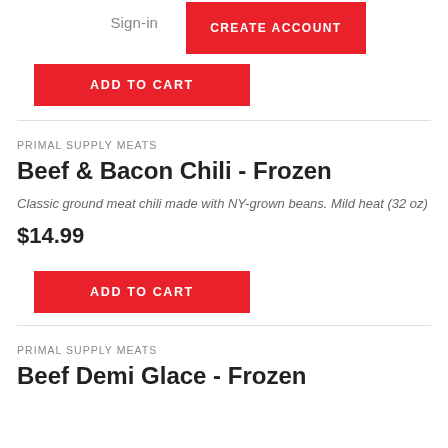Sign-in  CREATE ACCOUNT
ADD TO CART
PRIMAL SUPPLY MEATS
Beef & Bacon Chili - Frozen
Classic ground meat chili made with NY-grown beans. Mild heat (32 oz)
$14.99
ADD TO CART
PRIMAL SUPPLY MEATS
Beef Demi Glace - Frozen